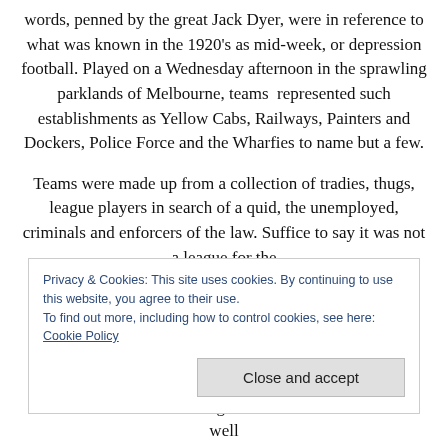words, penned by the great Jack Dyer, were in reference to what was known in the 1920's as mid-week, or depression football. Played on a Wednesday afternoon in the sprawling parklands of Melbourne, teams  represented such establishments as Yellow Cabs, Railways, Painters and Dockers, Police Force and the Wharfies to name but a few.
Teams were made up from a collection of tradies, thugs, league players in search of a quid, the unemployed, criminals and enforcers of the law. Suffice to say it was not a league for the
Privacy & Cookies: This site uses cookies. By continuing to use this website, you agree to their use.
To find out more, including how to control cookies, see here: Cookie Policy
Close and accept
While the teams have changed and the on-field violence well